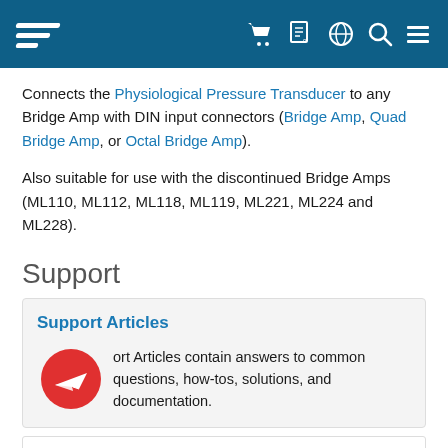ADInstruments navigation header with logo and icons
Connects the Physiological Pressure Transducer to any Bridge Amp with DIN input connectors (Bridge Amp, Quad Bridge Amp, or Octal Bridge Amp).
Also suitable for use with the discontinued Bridge Amps (ML110, ML112, ML118, ML119, ML221, ML224 and ML228).
Support
Support Articles contain answers to common questions, how-tos, solutions, and documentation.